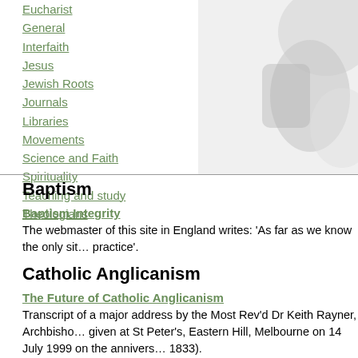Eucharist
General
Interfaith
Jesus
Jewish Roots
Journals
Libraries
Movements
Science and Faith
Spirituality
Teaching and study
Theologians
[Figure (photo): Background decorative image of hands or religious imagery in grayscale on the right side of the page]
Baptism
Baptism Integrity
The webmaster of this site in England writes: 'As far as we know the only sit... practice'.
Catholic Anglicanism
The Future of Catholic Anglicanism
Transcript of a major address by the Most Rev'd Dr Keith Rayner, Archbisho... given at St Peter's, Eastern Hill, Melbourne on 14 July 1999 on the annivers... 1833).
Courses